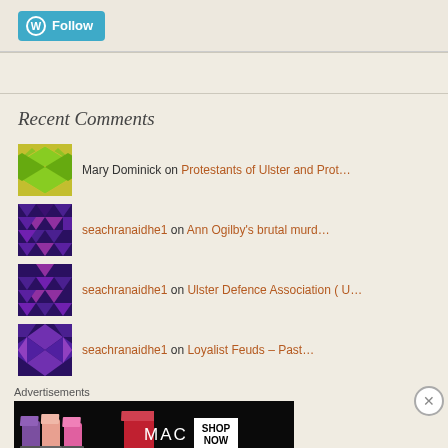[Figure (other): WordPress Follow button in blue/teal rounded rectangle]
Recent Comments
Mary Dominick on Protestants of Ulster and Prot…
seachranaidhe1 on Ann Ogilby's brutal murd…
seachranaidhe1 on Ulster Defence Association ( U…
seachranaidhe1 on Loyalist Feuds – Past…
Advertisements
[Figure (photo): MAC cosmetics advertisement banner with lipsticks and SHOP NOW button]